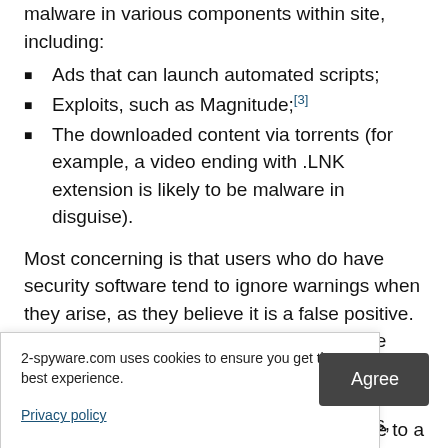malware in various components within site, including:
Ads that can launch automated scripts;
Exploits, such as Magnitude;[3]
The downloaded content via torrents (for example, a video ending with .LNK extension is likely to be malware in disguise).
Most concerning is that users who do have security software tend to ignore warnings when they arise, as they believe it is a false positive. As soon as a malicious file is launched, the infection routine begins. Torrent viruses can be found all across the web, so we strongly recommend avoiding sites that offer cracks, keygens, illegal movies, and similar
2-spyware.com uses cookies to ensure you get the best experience.
Privacy policy
Agree
om the site to a